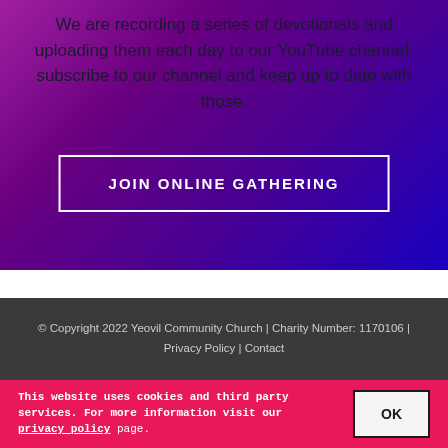We are recording a series of devotionals and uploading them each day to our YouTube channel, subscribe to our channel and keep up to date with those.
JOIN ONLINE GATHERING
© Copyright 2022 Yeovil Community Church | Charity Number: 1170106 | Privacy Policy | Contact
This website uses cookies and third party services. For more information visit our privacy policy page.
OK